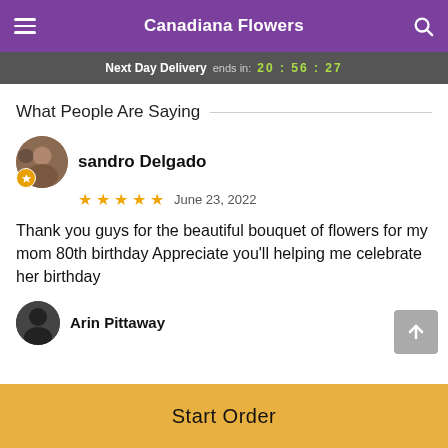Canadiana Flowers
Next Day Delivery ends in: 20:56:27
What People Are Saying
sandro Delgado
★★★★★  June 23, 2022
Thank you guys for the beautiful bouquet of flowers for my mom 80th birthday Appreciate you'll helping me celebrate her birthday
Arin Pittaway
Start Order